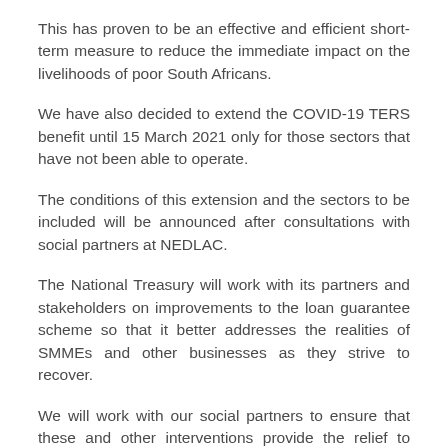This has proven to be an effective and efficient short-term measure to reduce the immediate impact on the livelihoods of poor South Africans.
We have also decided to extend the COVID-19 TERS benefit until 15 March 2021 only for those sectors that have not been able to operate.
The conditions of this extension and the sectors to be included will be announced after consultations with social partners at NEDLAC.
The National Treasury will work with its partners and stakeholders on improvements to the loan guarantee scheme so that it better addresses the realities of SMMEs and other businesses as they strive to recover.
We will work with our social partners to ensure that these and other interventions provide the relief to those who most need it.
Fellow South Africans,